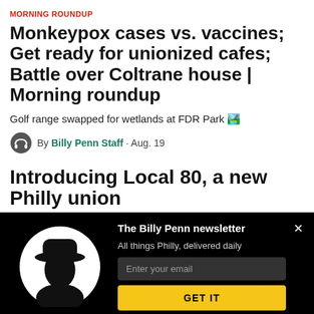MORNING ROUNDUP
Monkeypox cases vs. vaccines; Get ready for unionized cafes; Battle over Coltrane house | Morning roundup
Golf range swapped for wetlands at FDR Park 🏞️
By Billy Penn Staff · Aug. 19
Introducing Local 80, a new Philly union
The Billy Penn newsletter
All things Philly, delivered daily
Enter your email
GET IT